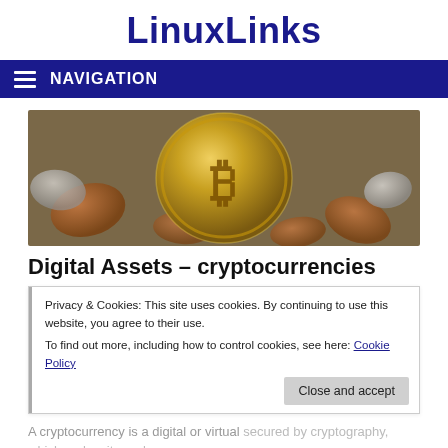LinuxLinks
NAVIGATION
[Figure (photo): A gold Bitcoin coin surrounded by other coins on a surface]
Digital Assets – cryptocurrencies
Privacy & Cookies: This site uses cookies. By continuing to use this website, you agree to their use.
To find out more, including how to control cookies, see here: Cookie Policy
A cryptocurrency is a digital or virtual secured by cryptography, which makes it nearly impossible to counterfeit or double-spend. To in all it
Close and accept